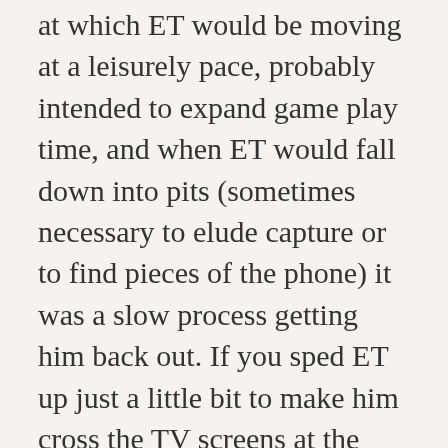at which ET would be moving at a leisurely pace, probably intended to expand game play time, and when ET would fall down into pits (sometimes necessary to elude capture or to find pieces of the phone) it was a slow process getting him back out. If you sped ET up just a little bit to make him cross the TV screens at the same pace as the protagonist in Berserk, and made levitating out of the pits quick and automatic you suddenly have a very playable game.
ET was merely a more involved version of “Adventure.” You travel from screen to screen gathering objects to take to the final screen and win the game. Instead of dragons you avoid FBI agents. Oddly, “Adventure” is considered to be one of the greatest games. Again, I believe this is perception based on years of game play